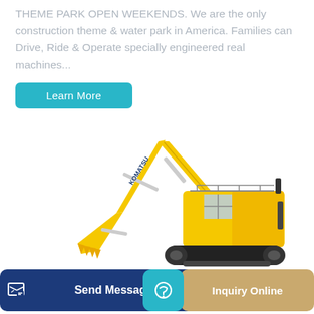THEME PARK OPEN WEEKENDS. We are the only construction theme & water park in America. Families can Drive, Ride & Operate specially engineered real machines...
Learn More
[Figure (photo): A large yellow Komatsu excavator/hydraulic shovel on a white background, showing the full machine with boom, arm, bucket, and tracked undercarriage.]
Send Message
Inquiry Online
emp